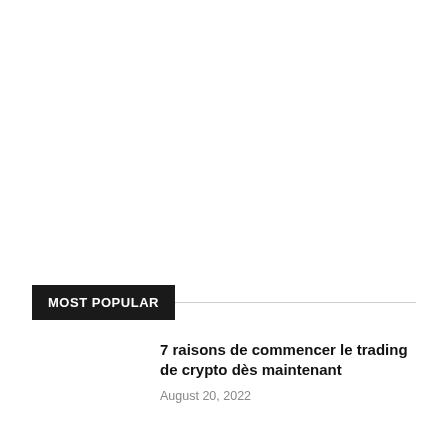MOST POPULAR
7 raisons de commencer le trading de crypto dès maintenant
August 20, 2022